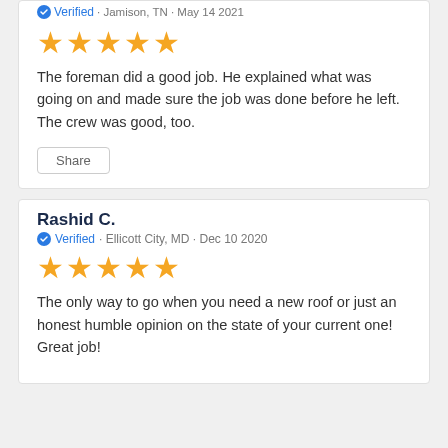Verified · Jamison, TN · May 14 2021
★★★★★
The foreman did a good job. He explained what was going on and made sure the job was done before he left. The crew was good, too.
Share
Rashid C.
Verified · Ellicott City, MD · Dec 10 2020
★★★★★
The only way to go when you need a new roof or just an honest humble opinion on the state of your current one! Great job!